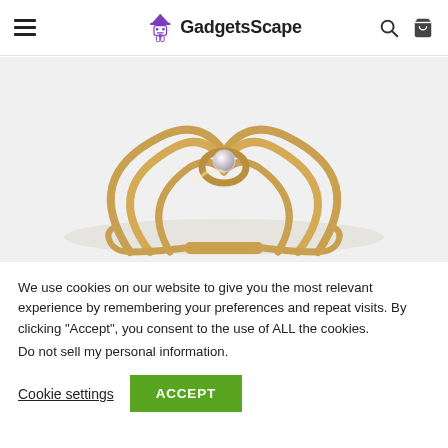GadgetsScape
[Figure (photo): Close-up photo of a gold-colored decorative hair clip/brooch with a pearl accent, ornate wire-work design, on white background]
We use cookies on our website to give you the most relevant experience by remembering your preferences and repeat visits. By clicking “Accept”, you consent to the use of ALL the cookies.
Do not sell my personal information.
Cookie settings
ACCEPT